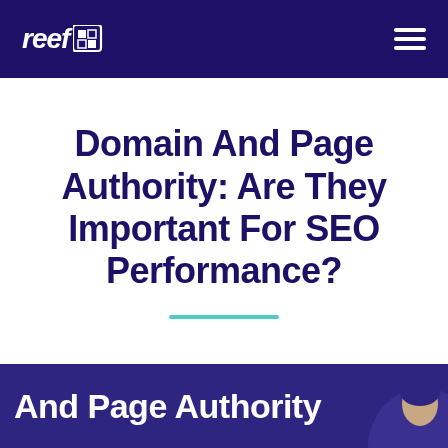reef logo and navigation
Domain And Page Authority: Are They Important For SEO Performance?
And Page Authority